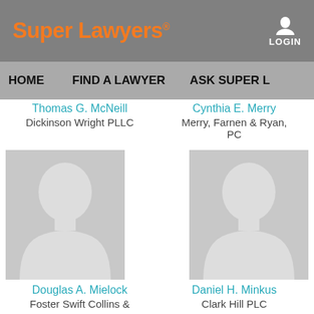[Figure (logo): Super Lawyers logo in orange text on gray background header with LOGIN button]
HOME   FIND A LAWYER   ASK SUPER L…
Thomas G. McNeill
Dickinson Wright PLLC
Cynthia E. Merry
Merry, Farnen & Ryan, PC
[Figure (photo): Gray placeholder silhouette portrait for Douglas A. Mielock]
[Figure (photo): Gray placeholder silhouette portrait for Daniel H. Minkus]
Douglas A. Mielock
Foster Swift Collins &
Daniel H. Minkus
Clark Hill PLC